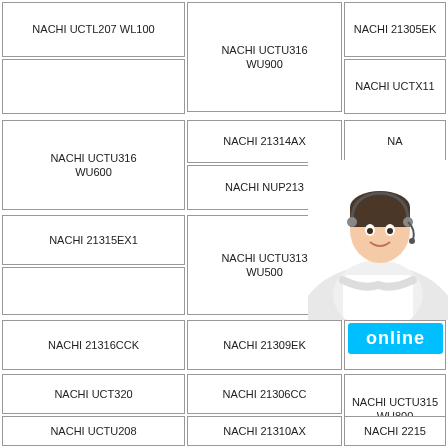| NACHI UCTL207 WL100 | NACHI UCTU316
WU900 | NACHI 21305EK | NACHI UCTX11 |
| NACHI UCTU316
WU600 | NACHI 21314AX | NA... |  |
|  | NACHI NUP213 | NA... |  |
| NACHI 21315EX1 | NACHI UCTU313
WU500 | NA... |  |
|  |  | NA... |  |
| NACHI 21316CCK | NACHI 21309EK | NA... | online |
| NACHI UCT320 | NACHI 21306CC | NACHI UCTU315
WU800 |
| NACHI UCTU208 | NACHI 21310AX | NACHI 2215 |